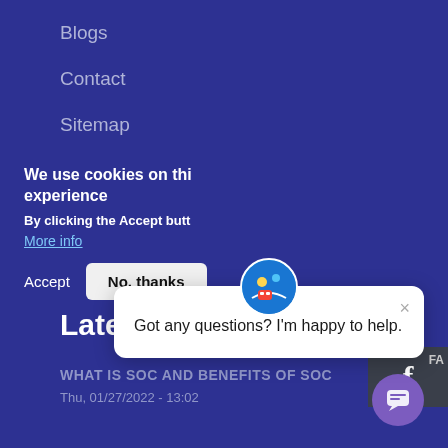Blogs
Contact
Sitemap
Latest Post
WHAT IS SOC AND BENEFITS OF SOC
Thu, 01/27/2022 - 13:02
[Figure (screenshot): Facebook icon partial view on dark background]
We use cookies on thi... experience
By clicking the Accept butt...
More info
Accept   No, thanks
[Figure (screenshot): Chat popup overlay: avatar icon at top, close X button, text 'Got any questions? I'm happy to help.']
[Figure (other): Purple circular chat button at bottom right]